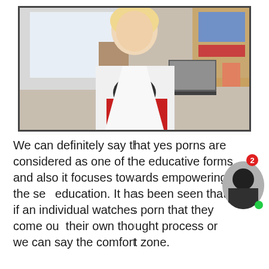[Figure (photo): A blonde woman in a white open shirt and red skirt sitting at an office desk with a laptop, shelves, and stationery in the background.]
We can definitely say that yes porns are considered as one of the educative forms and also it focuses towards empowering the sex education. It has been seen that if an individual watches porn that they come out their own thought process or we can say the comfort zone.